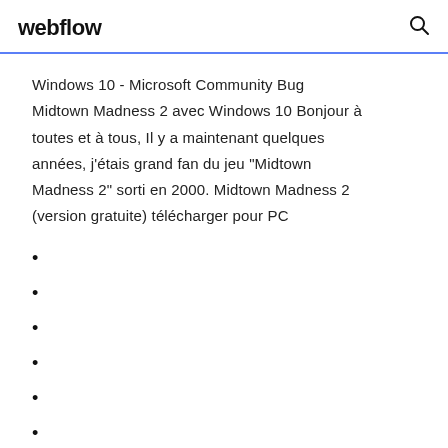webflow
Windows 10 - Microsoft Community Bug Midtown Madness 2 avec Windows 10 Bonjour à toutes et à tous, Il y a maintenant quelques années, j'étais grand fan du jeu "Midtown Madness 2" sorti en 2000. Midtown Madness 2 (version gratuite) télécharger pour PC